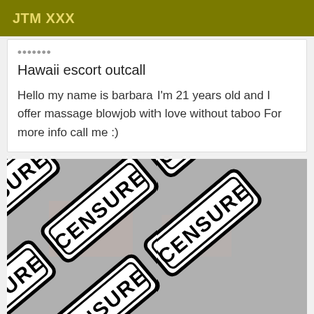JTM XXX
Hawaii escort outcall
Hello my name is barbara I'm 21 years old and I offer massage blowjob with love without taboo For more info call me :)
[Figure (photo): Censored image showing overlapping 'CENSURE' stamp labels covering the content]